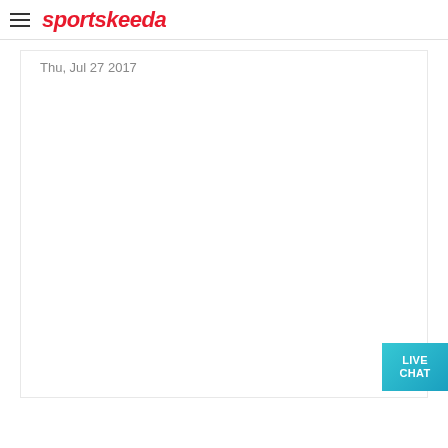sportskeeda
Thu, Jul 27 2017
LIVE CHAT